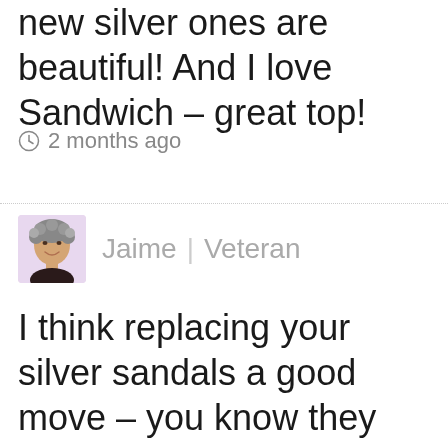new silver ones are beautiful! And I love Sandwich – great top!
2 months ago
[Figure (photo): User avatar photo of Jaime, showing a woman with short curly gray hair, smiling, wearing a dark top. Background is light purple/lavender.]
Jaime | Veteran
I think replacing your silver sandals a good move – you know they work you and they look great. Despite an travel, I am actually very bad at